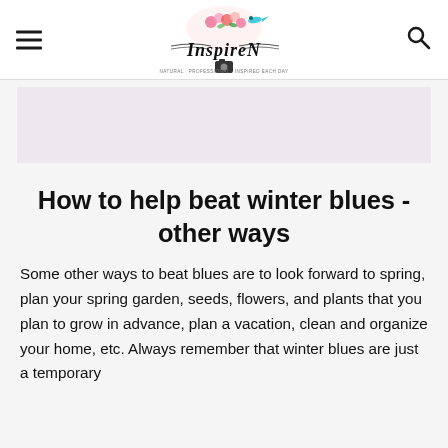InspireN (logo header with hamburger menu and search icon)
[Figure (other): Light pink/lavender advertisement banner placeholder]
How to help beat winter blues - other ways
Some other ways to beat blues are to look forward to spring, plan your spring garden, seeds, flowers, and plants that you plan to grow in advance, plan a vacation, clean and organize your home, etc. Always remember that winter blues are just a temporary